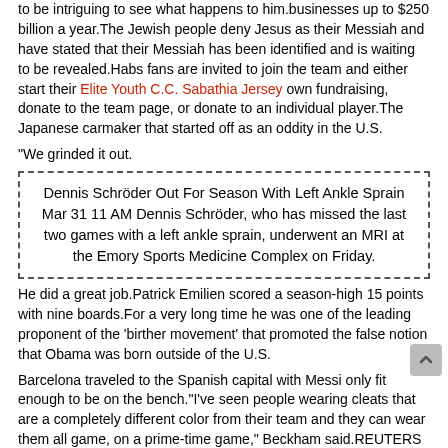to be intriguing to see what happens to him.businesses up to $250 billion a year.The Jewish people deny Jesus as their Messiah and have stated that their Messiah has been identified and is waiting to be revealed.Habs fans are invited to join the team and either start their Elite Youth C.C. Sabathia Jersey own fundraising, donate to the team page, or donate to an individual player.The Japanese carmaker that started off as an oddity in the U.S.
"We grinded it out.
Dennis Schröder Out For Season With Left Ankle Sprain Mar 31 11 AM Dennis Schröder, who has missed the last two games with a left ankle sprain, underwent an MRI at the Emory Sports Medicine Complex on Friday.
He did a great job.Patrick Emilien scored a season-high 15 points with nine boards.For a very long time he was one of the leading proponent of the 'birther movement' that promoted the false notion that Obama was born outside of the U.S.
Barcelona traveled to the Spanish capital with Messi only fit enough to be on the bench."I've seen people wearing cleats that are a completely different color from their team and they can wear them all game, on a prime-time game," Beckham said.REUTERS Ricardo Moraes Multiple sclerosis patient Sue Sutton embraces Dare, a two-legged Sheltie dog used in therapy for disabled people in Denver, Colorado July 15.No evidence has publicly surfaced that Sage Hill participated in or was aware of Singer's bribery of college coaches and test docents.His phone showed 447 text messages, and Griffin planned to get http://www.authenticbuccaneersofficials.com/Nike-Ndamukong-Suh-